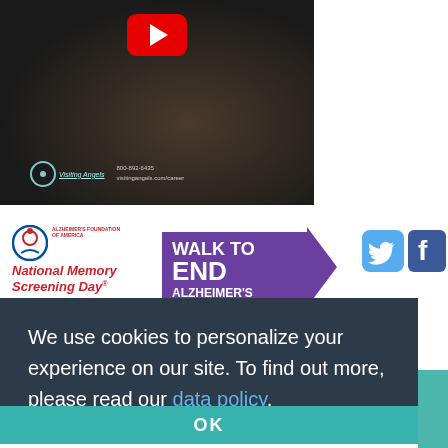[Figure (screenshot): Video thumbnail showing two people, with YouTube play button, Visiting Angels logo and contact info overlay: 800-892-6435, visitingangels.com/career]
[Figure (logo): Alzheimer's Foundation of America - National Memory Screening Day logo with red circular icon and red italic text]
[Figure (logo): Walk to End Alzheimer's logo in purple with arrow shape, alzheimer's association branding]
[Figure (logo): Twitter bird icon in light blue rounded square]
[Figure (logo): Facebook 'f' icon in blue rounded square]
[Figure (logo): Best Of logo - partial green circular logo]
We use cookies to personalize your experience on our site. To find out more, please read our data policy.
OK